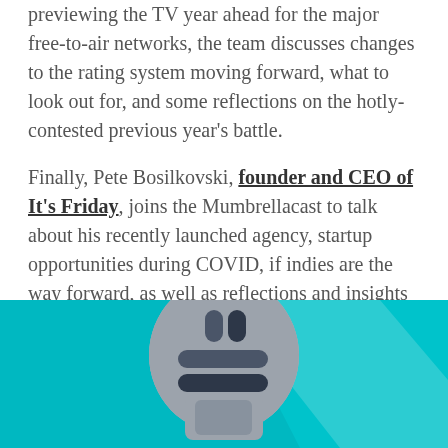previewing the TV year ahead for the major free-to-air networks, the team discusses changes to the rating system moving forward, what to look out for, and some reflections on the hotly-contested previous year's battle.
Finally, Pete Bosilkovski, founder and CEO of It's Friday, joins the Mumbrellacast to talk about his recently launched agency, startup opportunities during COVID, if indies are the way forward, as well as reflections and insights from his past few years leading agencies.
[Figure (illustration): Illustration of a microphone on a teal/turquoise background with geometric light beam shapes — podcast artwork style]